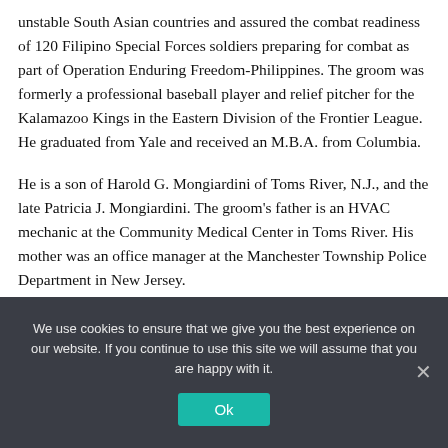unstable South Asian countries and assured the combat readiness of 120 Filipino Special Forces soldiers preparing for combat as part of Operation Enduring Freedom-Philippines. The groom was formerly a professional baseball player and relief pitcher for the Kalamazoo Kings in the Eastern Division of the Frontier League. He graduated from Yale and received an M.B.A. from Columbia.
He is a son of Harold G. Mongiardini of Toms River, N.J., and the late Patricia J. Mongiardini. The groom's father is an HVAC mechanic at the Community Medical Center in Toms River. His mother was an office manager at the Manchester Township Police Department in New Jersey.
We use cookies to ensure that we give you the best experience on our website. If you continue to use this site we will assume that you are happy with it.